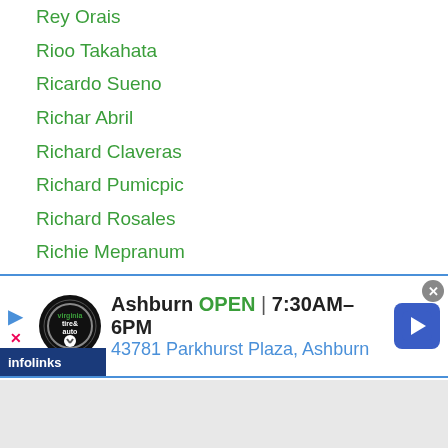Rey Orais
Rioo Takahata
Ricardo Sueno
Richar Abril
Richard Claveras
Richard Pumicpic
Richard Rosales
Richie Mepranum
Rick Yoshimura
Ricky Sismundo
Riki Hamada
Riki Masuda
Rikito Hattori
Rikito Shiba
Rikiya Fukuhara
...aito
[Figure (screenshot): Advertisement banner for Virginia Tire & Auto in Ashburn, showing OPEN 7:30AM-6PM and address 43781 Parkhurst Plaza, Ashburn]